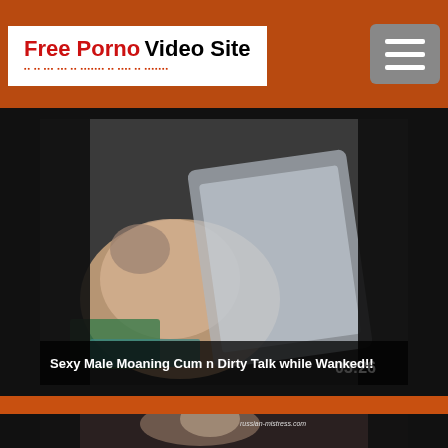Free Porno Video Site
[Figure (screenshot): Video thumbnail showing a blurry scene with duration timestamp 03:26]
Sexy Male Moaning Cum n Dirty Talk while Wanked!!
[Figure (screenshot): Video thumbnail with watermark 'russian-mistress.com']